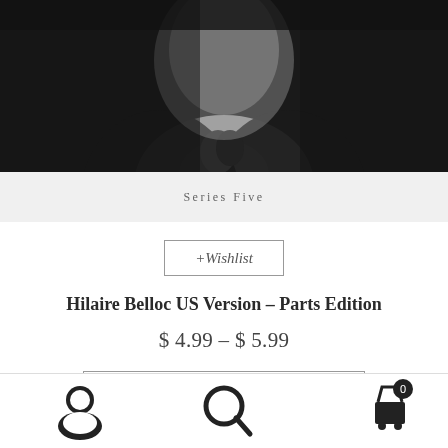[Figure (photo): Black and white portrait photo of Hilaire Belloc, showing a man in a dark suit and tie]
Series Five
+Wishlist
Hilaire Belloc US Version – Parts Edition
$ 4.99 – $ 5.99
Select options
[Figure (illustration): Bottom navigation bar with user/account icon, search icon, and cart icon with badge showing 0]